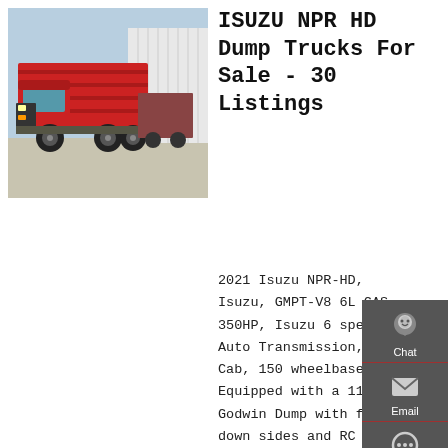[Figure (photo): Red dump truck (ISUZU/Sinotruk style) parked in a yard with white industrial buildings in the background, photographed from the front-left side.]
ISUZU NPR HD Dump Trucks For Sale - 30 Listings
2021 Isuzu NPR-HD, Isuzu, GMPT-V8 6L GAS, 350HP, Isuzu 6 speed Auto Transmission, Day Cab, 150 wheelbase. Equipped with a 11 fo... Godwin Dump with fold down sides and RC Industries 96x48x24 single door diamond plate aluminum box with